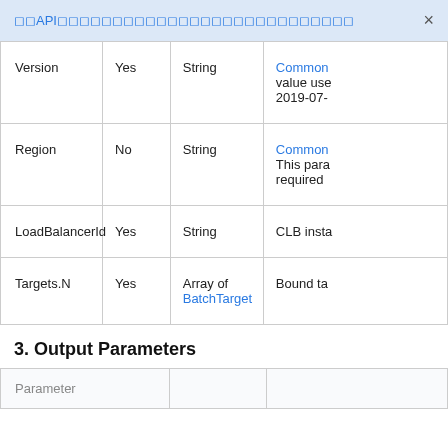◻◻API◻◻◻◻◻◻◻◻◻◻◻◻◻◻◻◻◻◻◻◻◻◻◻◻◻◻◻
| Parameter | Required | Type | Description |
| --- | --- | --- | --- |
| Version | Yes | String | Common value use 2019-07-... |
| Region | No | String | Common This para required |
| LoadBalancerId | Yes | String | CLB insta |
| Targets.N | Yes | Array of BatchTarget | Bound ta |
3. Output Parameters
| Parameter |  |  |
| --- | --- | --- |